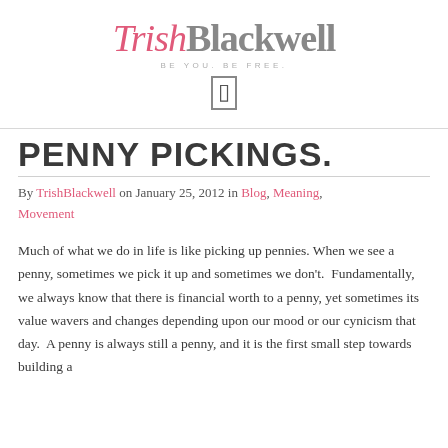[Figure (logo): TrishBlackwell logo with pink italic 'Trish' and gray bold 'Blackwell', tagline 'BE YOU. BE FREE.' in gray spaced caps]
PENNY PICKINGS.
By TrishBlackwell on January 25, 2012 in Blog, Meaning, Movement
Much of what we do in life is like picking up pennies. When we see a penny, sometimes we pick it up and sometimes we don't.  Fundamentally, we always know that there is financial worth to a penny, yet sometimes its value wavers and changes depending upon our mood or our cynicism that day.  A penny is always still a penny, and it is the first small step towards building a